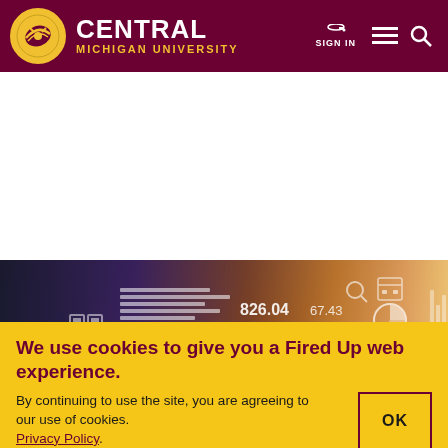CENTRAL MICHIGAN UNIVERSITY | SIGN IN
[Figure (photo): Hero image showing a person with digital data overlays including charts, numbers (826.04, 67.43, 559.83, 789.51, 292.76, 73.75), lock icon, globe icon, map pin, and bar chart icons on a dark purple-to-orange gradient background]
We use cookies to give you a Fired Up web experience.
By continuing to use the site, you are agreeing to our use of cookies. Privacy Policy.